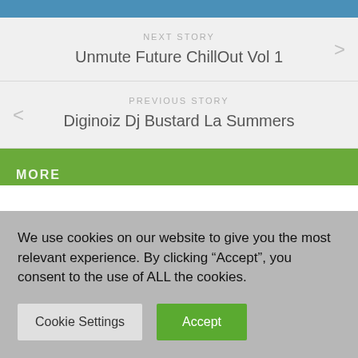NEXT STORY
Unmute Future ChillOut Vol 1
PREVIOUS STORY
Diginoiz Dj Bustard La Summers
MORE
We use cookies on our website to give you the most relevant experience. By clicking “Accept”, you consent to the use of ALL the cookies.